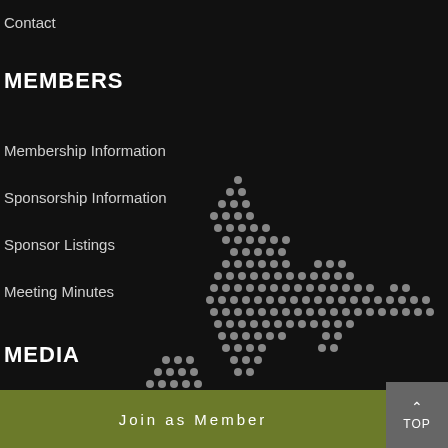Contact
MEMBERS
Membership Information
Sponsorship Information
Sponsor Listings
Meeting Minutes
MEDIA
Kiwi Chamber News
Media Coverage
Kiwi Events
[Figure (illustration): Dotted grey kiwi bird silhouette map decoration on dark background, positioned on the right side of the page]
Join as Member
TOP